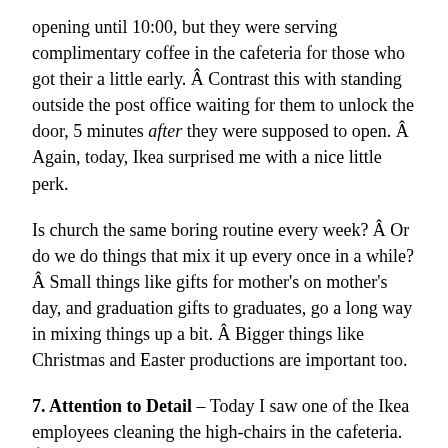opening until 10:00, but they were serving complimentary coffee in the cafeteria for those who got their a little early. Â Contrast this with standing outside the post office waiting for them to unlock the door, 5 minutes after they were supposed to open. Â Again, today, Ikea surprised me with a nice little perk.
Is church the same boring routine every week? Â Or do we do things that mix it up every once in a while? Â Small things like gifts for mother's on mother's day, and graduation gifts to graduates, go a long way in mixing things up a bit. Â Bigger things like Christmas and Easter productions are important too.
7. Attention to Detail – Today I saw one of the Ikea employees cleaning the high-chairs in the cafeteria. Â She wasn't just quickly wiping down the seats, butÂ painstakinglyÂ cleaning every square inch of every highchair. Â She cleaned the legs, under the chair, the straps, everything. Â Here is the crazy part….she wan't cleaning dirty highchairs, she was actually going back through a stack of clean ones double checking to be